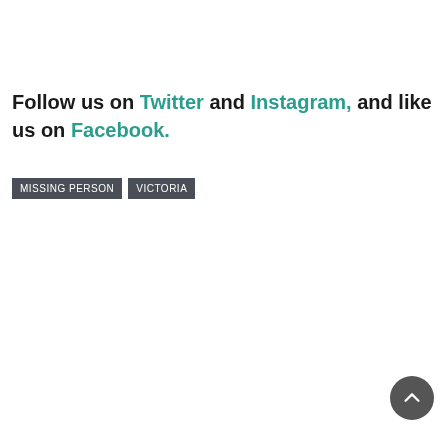Follow us on Twitter and Instagram, and like us on Facebook.
MISSING PERSON
VICTORIA
[Figure (other): Scroll-to-top button: dark grey circle with white upward chevron arrow]